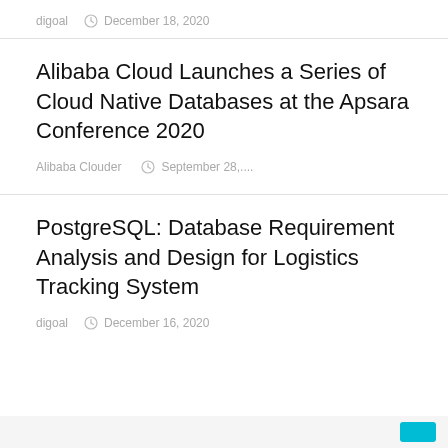digoal   December 18, 2020
Alibaba Cloud Launches a Series of Cloud Native Databases at the Apsara Conference 2020
Alibaba Clouder   September 28,...
PostgreSQL: Database Requirement Analysis and Design for Logistics Tracking System
digoal   December 16, 2020